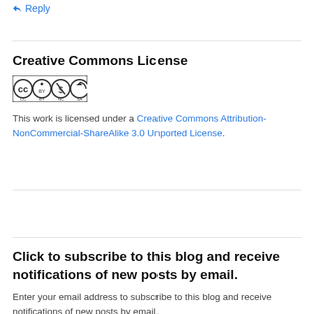↵ Reply
Creative Commons License
[Figure (logo): Creative Commons BY-NC-SA license badge]
This work is licensed under a Creative Commons Attribution-NonCommercial-ShareAlike 3.0 Unported License.
Click to subscribe to this blog and receive notifications of new posts by email.
Enter your email address to subscribe to this blog and receive notifications of new posts by email.
Enter your email address